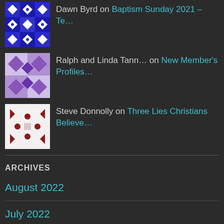Dawn Byrd on Baptism Sunday 2021 – Te…
Ralph and Linda Tann… on New Member's Profiles…
Steve Donnolly on Three Lies Christians Believe…
ARCHIVES
August 2022
July 2022
June 2022
May 2022